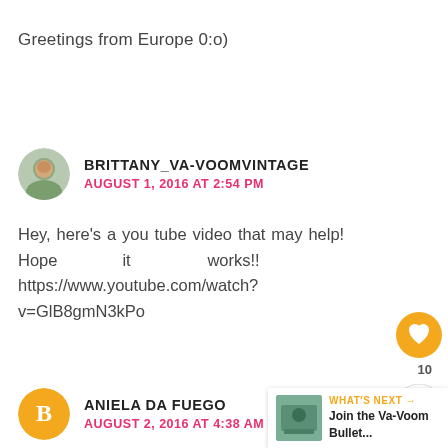Greetings from Europe 0:o)
BRITTANY_VA-VOOMVINTAGE
AUGUST 1, 2016 AT 2:54 PM
Hey, here's a you tube video that may help! Hope it works!! https://www.youtube.com/watch?v=GlB8gmN3kPo
ANIELA DA FUEGO
AUGUST 2, 2016 AT 4:38 AM